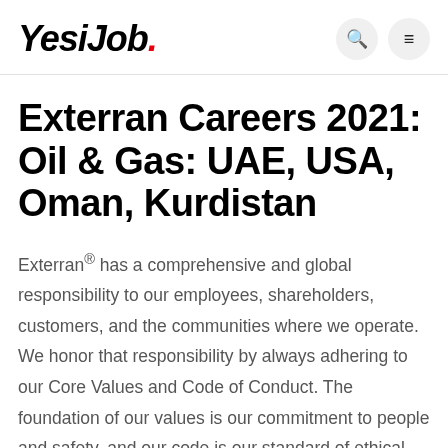YesiJob.
Exterran Careers 2021: Oil & Gas: UAE, USA, Oman, Kurdistan
Exterran® has a comprehensive and global responsibility to our employees, shareholders, customers, and the communities where we operate. We honor that responsibility by always adhering to our Core Values and Code of Conduct. The foundation of our values is our commitment to people and safety, and our code is our standard of ethical practices. Our Core Values and